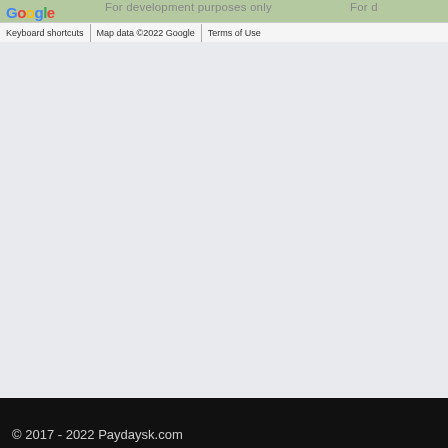[Figure (screenshot): Google Maps screenshot showing map interface with Google logo, 'For development purposes only' watermark text, and bottom bar with 'Keyboard shortcuts', 'Map data ©2022 Google', and 'Terms of Use' links.]
© 2017 - 2022 Paydaysk.com